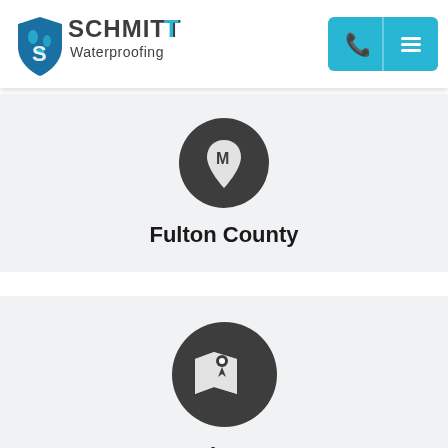[Figure (logo): Schmitt Waterproofing logo with blue shield and text]
[Figure (screenshot): Navigation buttons: phone and hamburger menu on teal background]
[Figure (illustration): Dark circle icon with map pin M marker for Fulton County]
Fulton County
[Figure (illustration): Dark circle icon with map and location pin for Forsyth County]
Forsyth County
[Figure (illustration): Partially visible dark circle icon at bottom]